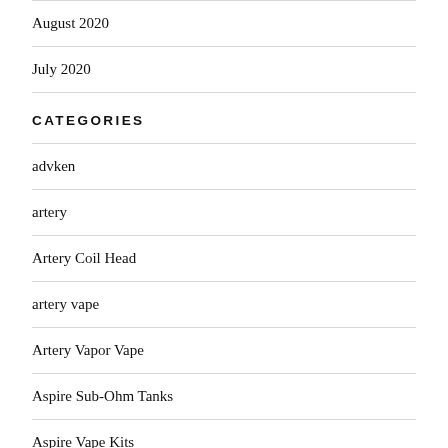August 2020
July 2020
CATEGORIES
advken
artery
Artery Coil Head
artery vape
Artery Vapor Vape
Aspire Sub-Ohm Tanks
Aspire Vape Kits